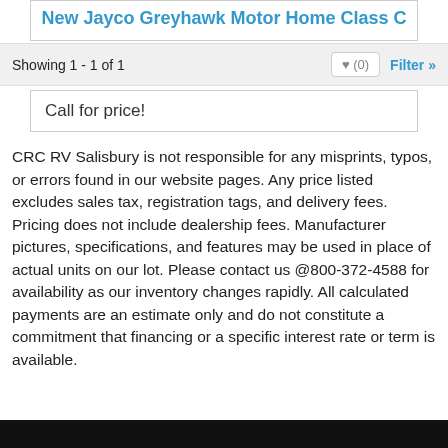New Jayco Greyhawk Motor Home Class C
Showing 1 - 1 of 1
Call for price!
CRC RV Salisbury is not responsible for any misprints, typos, or errors found in our website pages. Any price listed excludes sales tax, registration tags, and delivery fees. Pricing does not include dealership fees. Manufacturer pictures, specifications, and features may be used in place of actual units on our lot. Please contact us @800-372-4588 for availability as our inventory changes rapidly. All calculated payments are an estimate only and do not constitute a commitment that financing or a specific interest rate or term is available.